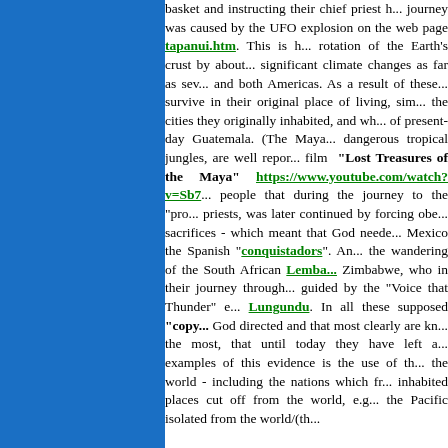[Figure (other): Blue solid color sidebar panel on the left side of the page]
basket and instructing their chief priest h... journey was caused by the UFO explosion on the web page tapanui.htm. This is h... rotation of the Earth's crust by about... significant climate changes as far as sev... and both Americas. As a result of these... survive in their original place of living, sim... the cities they originally inhabited, and wh... of present-day Guatemala. (The Mayan... dangerous tropical jungles, are well repor... film "Lost Treasures of the Maya" https://www.youtube.com/watch?v=Sb7... people that during the journey to the "prom... priests, was later continued by forcing obe... sacrifices - which meant that God neede... Mexico the Spanish "conquistadors". An... the wandering of the South African Lemba... Zimbabwe, who in their journey through... guided by the "Voice that Thunder" e... Lungundu. In all these supposed "copy... God directed and that most clearly are kn... the most, that until today they have left a... examples of this evidence is the use of th... the world - including the nations which fr... inhabited places cut off from the world, e.g... the Pacific isolated from the world/(th...